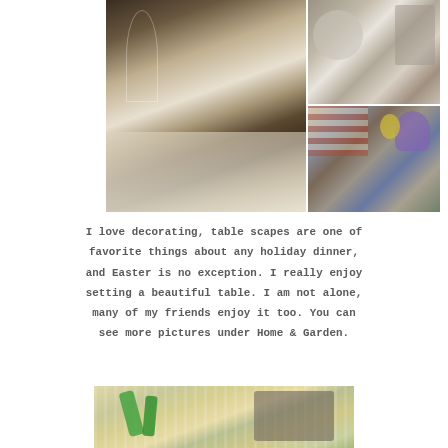[Figure (photo): Collage of three table setting photos: a large photo on the left showing an elegantly set table with crystal glasses, white linens, and silver teapot; top right photo showing silver tea service with plates and purple flowers; bottom right photo showing table with purple and yellow flowers, silver candlesticks, and striped upholstered chairs in background.]
I love decorating, table scapes are one of favorite things about any holiday dinner, and Easter is no exception. I really enjoy setting a beautiful table. I am not alone, many of my friends enjoy it too. You can see more pictures under Home & Garden.
[Figure (photo): Partially visible photo at bottom of page showing what appears to be a table setting with green decorative elements and woven/textured items.]